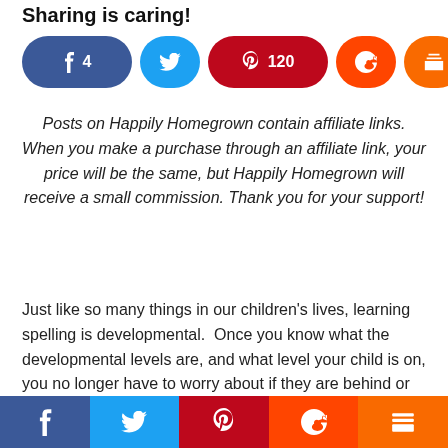Sharing is caring!
[Figure (infographic): Social share buttons row: Facebook (4), Twitter, Pinterest (120), Reddit, Mix, and a share count showing 124 SHARES]
Posts on Happily Homegrown contain affiliate links. When you make a purchase through an affiliate link, your price will be the same, but Happily Homegrown will receive a small commission. Thank you for your support!
Just like so many things in our children’s lives, learning spelling is developmental. Once you know what the developmental levels are, and what level your child is on, you no longer have to worry about if they are behind or right where they need to be.
[Figure (infographic): Bottom sticky social share bar with Facebook, Twitter, Pinterest, Reddit, and Mix buttons]